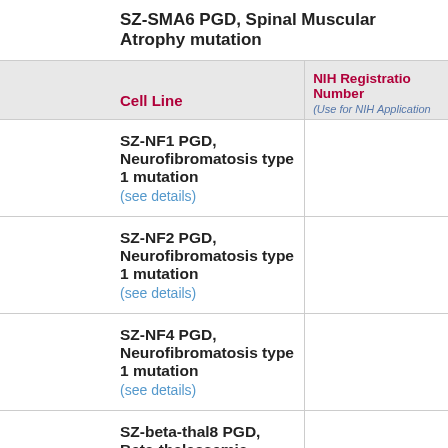SZ-SMA6 PGD, Spinal Muscular Atrophy mutation
| Cell Line | NIH Registration Number (Use for NIH Applications) |
| --- | --- |
| SZ-NF1 PGD, Neurofibromatosis type 1 mutation
(see details) |  |
| SZ-NF2 PGD, Neurofibromatosis type 1 mutation
(see details) |  |
| SZ-NF4 PGD, Neurofibromatosis type 1 mutation
(see details) |  |
| SZ-beta-thal8 PGD, Beta-thalassemia mutation
(see details) |  |
| SZ-CMT PGD, Charcot Marie Tooth mutation
(see details) |  |